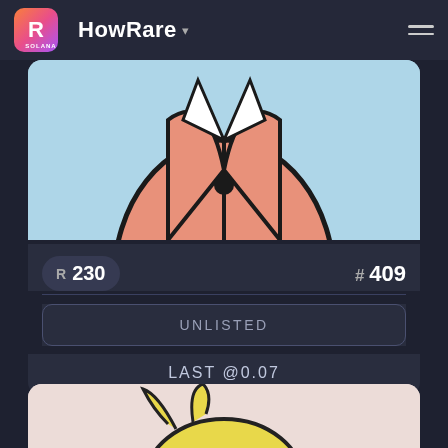HowRare
[Figure (illustration): NFT artwork showing a cartoon character with salmon/pink body wearing a suit with white collar, on light blue background. Cropped to show torso only.]
R 230
# 409
UNLISTED
LAST @0.07
[Figure (illustration): NFT artwork showing a cartoon yellow creature/character wearing a ninja-style mask/bandana, on light pink background. Partially visible at bottom.]